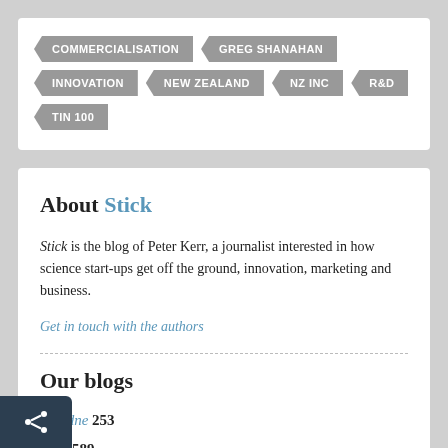COMMERCIALISATION
GREG SHANAHAN
INNOVATION
NEW ZEALAND
NZ INC
R&D
TIN 100
About Stick
Stick is the blog of Peter Kerr, a journalist interested in how science start-ups get off the ground, innovation, marketing and business.
Get in touch with the authors
Our blogs
Ariadne 253
Blog 589
thonic Wildlife Ramblings 215